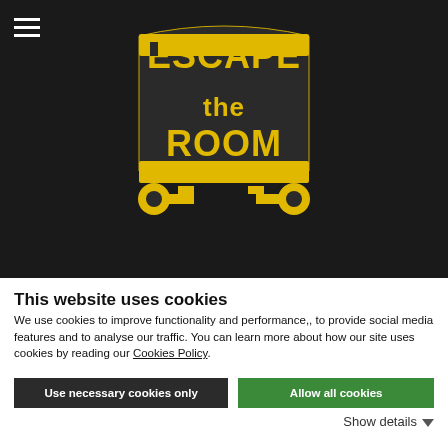[Figure (logo): Escape the Room logo in yellow on dark background, with key graphics and stylized text]
Newsletter
Εγγραφείτε στο Newsletter μας για να λαμβάνετε ενημερώσεις σχετικά με νέα δωμάτια και ειδικές προσφορές, απευθείας στο inbox σας!
SIGN UP
This website uses cookies
We use cookies to improve functionality and performance,, to provide social media features and to analyse our traffic. You can learn more about how our site uses cookies by reading our Cookies Policy.
Use necessary cookies only
Allow all cookies
Show details